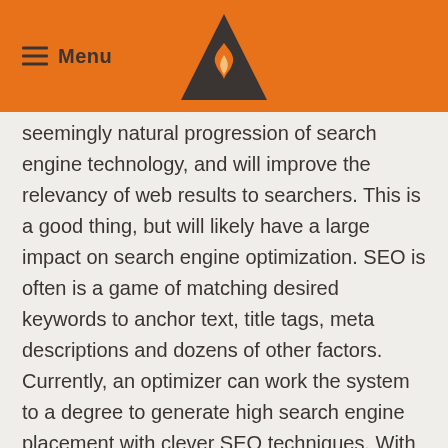Menu
seemingly natural progression of search engine technology, and will improve the relevancy of web results to searchers. This is a good thing, but will likely have a large impact on search engine optimization. SEO is often is a game of matching desired keywords to anchor text, title tags, meta descriptions and dozens of other factors. Currently, an optimizer can work the system to a degree to generate high search engine placement with clever SEO techniques. With semantic search results, much more importance will be placed on matching the intent the user had with inputting a keyword to a completely relevant result.
Despite what you may read elsewhere, this wont kill SEO. It will simply change some techniques.